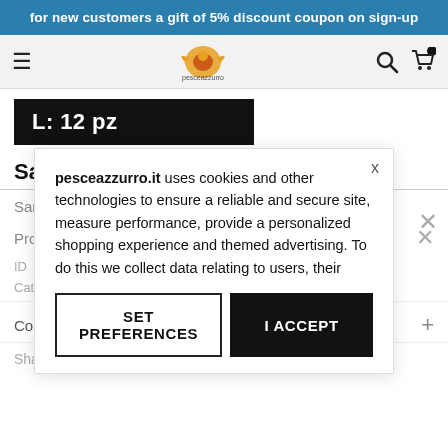for new customers a gift of 5% discount coupon on sign-up
[Figure (screenshot): Website navigation bar with hamburger menu, fish logo, search and cart icons]
[Figure (other): Black product image bar with text 'L: 12 pz']
Salted Sardines
Sardines, salt
Product Details
ID   51
Category   Products / Salty / Salted sardines
Contacts
Share & Notices
pesceazzurro.it  uses cookies and other technologies to ensure a reliable and secure site, measure performance, provide a personalized shopping experience and themed advertising. To do this we collect data relating to users, their
SET PREFERENCES
I ACCEPT